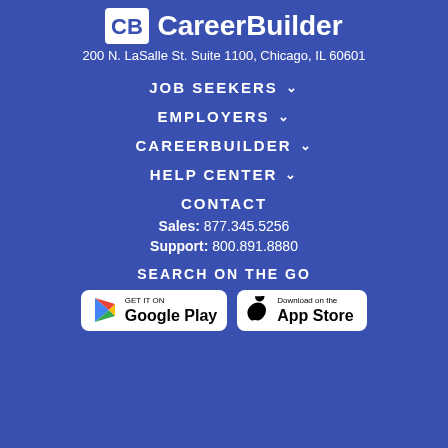[Figure (logo): CareerBuilder logo with CB icon and wordmark in white]
200 N. LaSalle St. Suite 1100, Chicago, IL 60601
JOB SEEKERS ▾
EMPLOYERS ▾
CAREERBUILDER ▾
HELP CENTER ▾
CONTACT
Sales: 877.345.5256
Support: 800.891.8880
SEARCH ON THE GO
[Figure (other): Google Play store badge]
[Figure (other): Apple App Store badge]